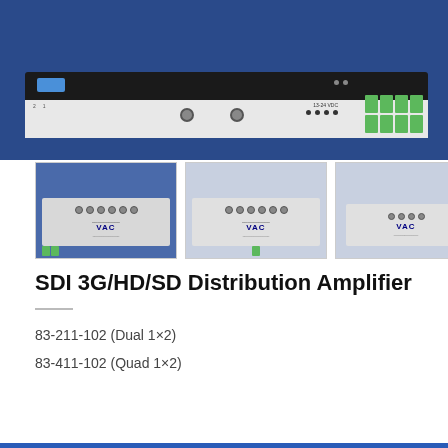[Figure (photo): Close-up photo of SDI distribution amplifier device showing top portion with blue button, label area, green terminal connectors on right side, and connector ports. Blue background.]
[Figure (photo): Three thumbnail photos of VAC SDI distribution amplifier devices on blue backgrounds, shown from different angles.]
SDI 3G/HD/SD Distribution Amplifier
83-211-102 (Dual 1×2)
83-411-102 (Quad 1×2)